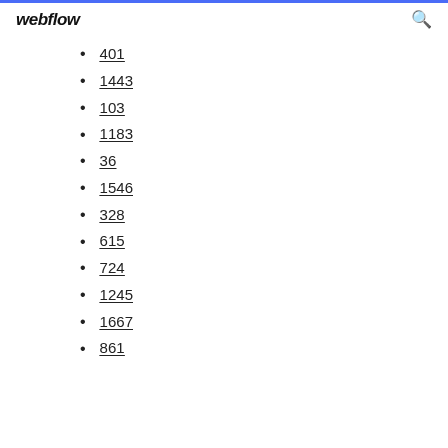webflow
401
1443
103
1183
36
1546
328
615
724
1245
1667
861